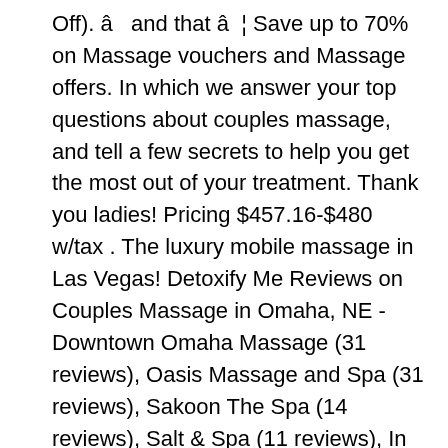Off). â and that â€¦ Save up to 70% on Massage vouchers and Massage offers. In which we answer your top questions about couples massage, and tell a few secrets to help you get the most out of your treatment. Thank you ladies! Pricing $457.16-$480 w/tax . The luxury mobile massage in Las Vegas! Detoxify Me Reviews on Couples Massage in Omaha, NE - Downtown Omaha Massage (31 reviews), Oasis Massage and Spa (31 reviews), Sakoon The Spa (14 reviews), Salt & Spa (11 reviews), In Touch Wellness (5 reviews), ReviveMD (9 reviews), On The Spot Massage Therapy (6 reviews), Faces Spa (16 reviews), A+Massage (5 reviews), Hand & Stone Massage and Facial Spa (2 reviews) Hilarious? The Massage Loft Channelside 61 $$Henna Artists, Skin Care, Massage Therapy. Peace of Mind Massage Center. Perfect for Birthdays, Anniversaries or any special occasion! Couple massage is the best way of having an experience that will be fulfilling for both and also bonding to make the couple stronger. Escape Couples Massage Immerse...